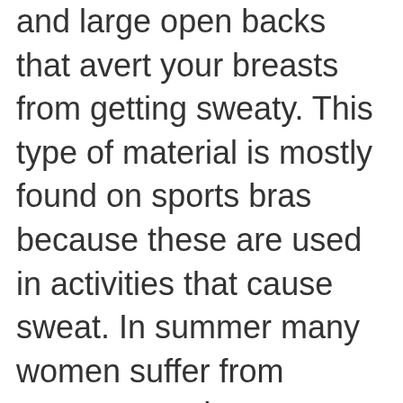and large open backs that avert your breasts from getting sweaty. This type of material is mostly found on sports bras because these are used in activities that cause sweat. In summer many women suffer from menopause, have a medical condition, naturally run hot, or try to get through the summer sweat-free, these are the best cooling bras to keep you supported and comfortable throughout the day.